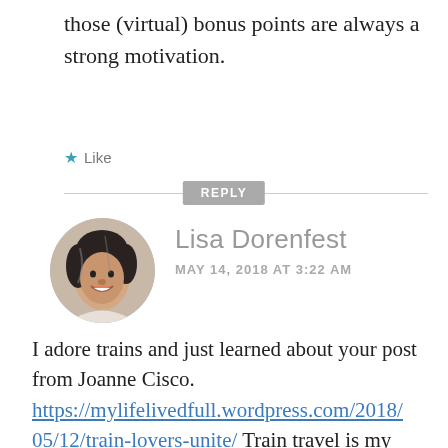those (virtual) bonus points are always a strong motivation.
★ Like
REPLY
Lisa Dorenfest
MAY 14, 2018 AT 3:22 AM
[Figure (photo): Circular avatar photo of Lisa Dorenfest, a middle-aged woman with dark curly hair, smiling.]
I adore trains and just learned about your post from Joanne Cisco. https://mylifelivedfull.wordpress.com/2018/05/12/train-lovers-unite/ Train travel is my second favorite mode of transportation